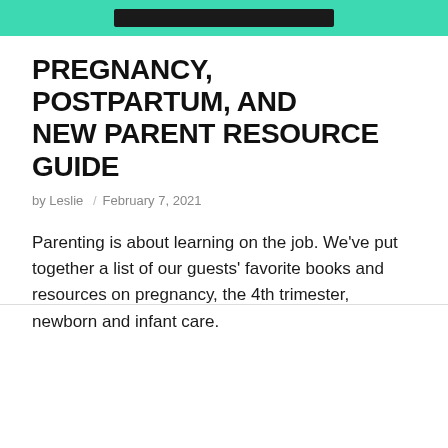[Figure (other): Teal/green header banner with a dark black rectangular bar centered within it]
PREGNANCY, POSTPARTUM, AND NEW PARENT RESOURCE GUIDE
by Leslie / February 7, 2021
Parenting is about learning on the job. We've put together a list of our guests' favorite books and resources on pregnancy, the 4th trimester, newborn and infant care.